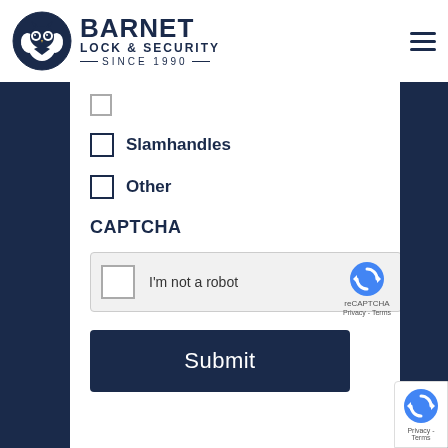[Figure (logo): Barnet Lock & Security logo with owl icon, text BARNET LOCK & SECURITY SINCE 1990]
Slamhandles
Other
CAPTCHA
[Figure (other): reCAPTCHA widget with checkbox and I'm not a robot text]
Submit